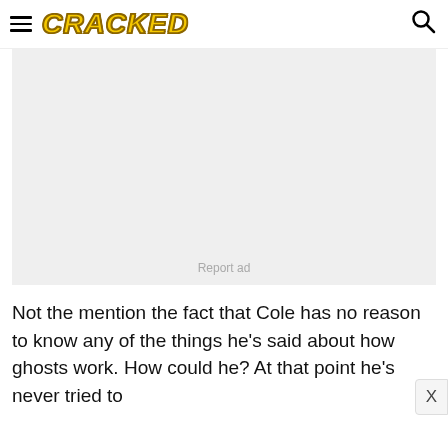CRACKED
[Figure (other): Advertisement placeholder box with light gray background and 'Report ad' label]
Not the mention the fact that Cole has no reason to know any of the things he's said about how ghosts work. How could he? At that point he's never tried to